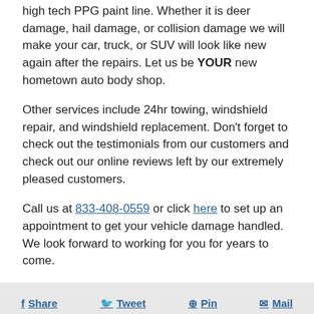high tech PPG paint line. Whether it is deer damage, hail damage, or collision damage we will make your car, truck, or SUV will look like new again after the repairs. Let us be YOUR new hometown auto body shop.
Other services include 24hr towing, windshield repair, and windshield replacement. Don't forget to check out the testimonials from our customers and check out our online reviews left by our extremely pleased customers.
Call us at 833-408-0559 or click here to set up an appointment to get your vehicle damage handled. We look forward to working for you for years to come.
Share  Tweet  Pin  Mail
Back to top
Mobile  Desktop